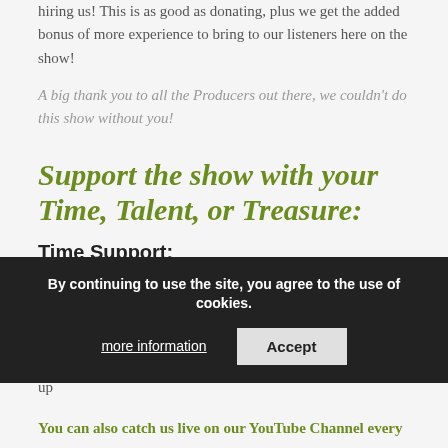hiring us! This is as good as donating, plus we get the added bonus of more experience to bring to our listeners here on the show!
A big thank you to all the Producers out there, we couldn't do this show without you!
Support the show with your Time, Talent, or Treasure:
Time Support:
Subscribe to our newsletter!
Spread the word about WP Plugins A to Z through your social media, YouTube – wherever you find yourself! Get on out there to round them up and rope them all in, then belly up
By continuing to use the site, you agree to the use of cookies. more information   Accept
You can also catch us live on our YouTube Channel every